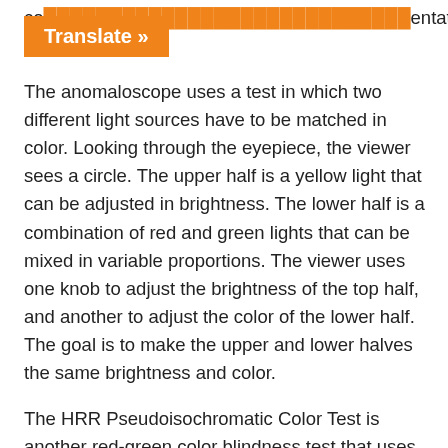co…entation.
Translate »
The anomaloscope uses a test in which two different light sources have to be matched in color. Looking through the eyepiece, the viewer sees a circle. The upper half is a yellow light that can be adjusted in brightness. The lower half is a combination of red and green lights that can be mixed in variable proportions. The viewer uses one knob to adjust the brightness of the top half, and another to adjust the color of the lower half. The goal is to make the upper and lower halves the same brightness and color.
The HRR Pseudoisochromatic Color Test is another red-green color blindness test that uses color plates to test for color blindness.
The Farnsworth-Munsell 100 Hue Test uses a set of blocks or pegs that are roughly the same color but in different hues (shades of the color). The goal is to arrange them in a line in order of hue. This test measures the ability to discriminate subtle color changes. It is used by industries that depend on the accurate color perception of its employees, such as graphic design, photography, and food